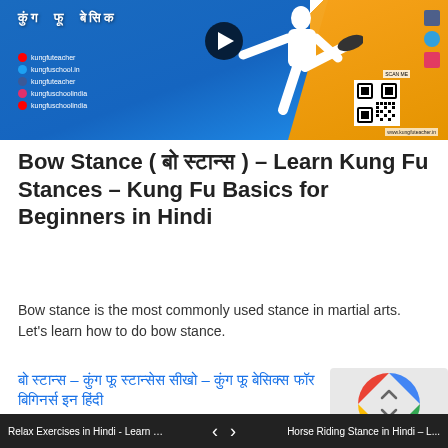[Figure (screenshot): Kung Fu Basics video thumbnail with Hindi text, play button, social media links, QR code, and a martial artist in white performing a kick against blue and orange background]
Bow Stance ( बो स्टान्स ) – Learn Kung Fu Stances – Kung Fu Basics for Beginners in Hindi
Bow stance is the most commonly used stance in martial arts. Let's learn how to do bow stance.
बो स्टान्स – कुंग फू स्टान्सेस सीखो – कुंग फू बेसिक्स फॉर बिगिनर्स इन हिंदी
Relax Exercises in Hindi - Learn … < > Horse Riding Stance in Hindi – L...